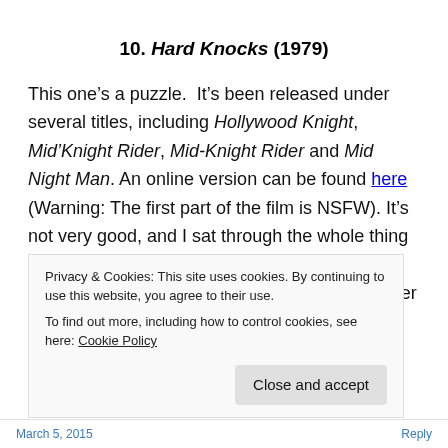10. Hard Knocks (1979)
This one’s a puzzle.  It’s been released under several titles, including Hollywood Knight, Mid’Knight Rider, Mid-Knight Rider and Mid Night Man. An online version can be found here (Warning: The first part of the film is NSFW). It’s not very good, and I sat through the whole thing – no Timothy to be seen. So either there’s a version out there with him in it, or there’s another film by that name with
Privacy & Cookies: This site uses cookies. By continuing to use this website, you agree to their use.
To find out more, including how to control cookies, see here: Cookie Policy
March 5, 2015 … Reply